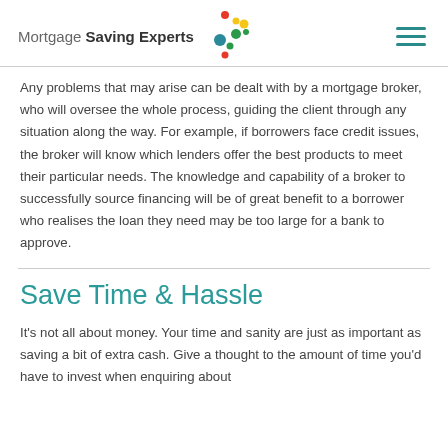Mortgage Saving Experts
Any problems that may arise can be dealt with by a mortgage broker, who will oversee the whole process, guiding the client through any situation along the way. For example, if borrowers face credit issues, the broker will know which lenders offer the best products to meet their particular needs. The knowledge and capability of a broker to successfully source financing will be of great benefit to a borrower who realises the loan they need may be too large for a bank to approve.
Save Time & Hassle
It's not all about money. Your time and sanity are just as important as saving a bit of extra cash. Give a thought to the amount of time you'd have to invest when enquiring about